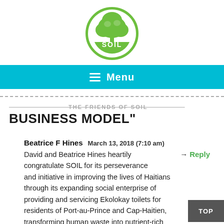[Figure (logo): SOIL organization logo: green circle with white tree silhouette and 'SOIL' text in white on green background]
[Figure (screenshot): Navigation bar with cyan/turquoise background, hamburger menu icon and 'Menu' text in white]
BUSINESS MODEL"
Beatrice F Hines   March 13, 2018 (7:10 am)
David and Beatrice Hines heartily congratulate SOIL for its perseverance and initiative in improving the lives of Haitians through its expanding social enterprise of providing and servicing Ekolokay toilets for residents of Port-au-Prince and Cap-Haitien, transforming human waste into nutrient-rich soil